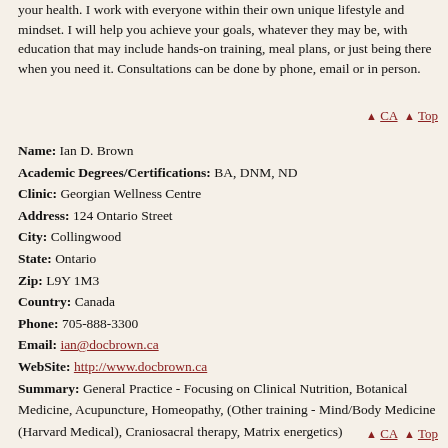your health. I work with everyone within their own unique lifestyle and mindset. I will help you achieve your goals, whatever they may be, with education that may include hands-on training, meal plans, or just being there when you need it. Consultations can be done by phone, email or in person.
▲ CA ▲ Top
Name: Ian D. Brown
Academic Degrees/Certifications: BA, DNM, ND
Clinic: Georgian Wellness Centre
Address: 124 Ontario Street
City: Collingwood
State: Ontario
Zip: L9Y 1M3
Country: Canada
Phone: 705-888-3300
Email: ian@docbrown.ca
WebSite: http://www.docbrown.ca
Summary: General Practice - Focusing on Clinical Nutrition, Botanical Medicine, Acupuncture, Homeopathy, (Other training - Mind/Body Medicine (Harvard Medical), Craniosacral therapy, Matrix energetics)
▲ CA ▲ Top